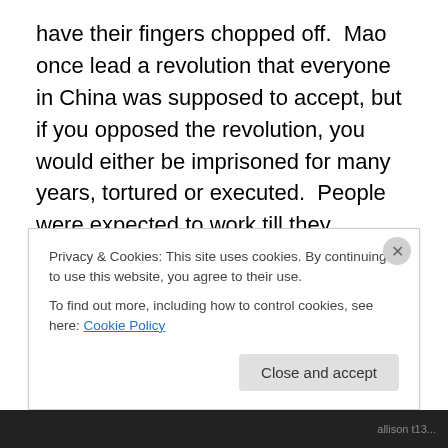have their fingers chopped off.  Mao once lead a revolution that everyone in China was supposed to accept, but if you opposed the revolution, you would either be imprisoned for many years, tortured or executed.  People were expected to work till they dropped.  People were beaten up and tortured if they could not do their work and if they were late going to work.  People were also beaten up if they said something that made Mao or his men angry.  Mao's brutal men had methods of torture like whipping, burning people with incense or with flame of a kerosene lamp and nailing a person's palms to a table and then to insert bamboo
Privacy & Cookies: This site uses cookies. By continuing to use this website, you agree to their use.
To find out more, including how to control cookies, see here: Cookie Policy